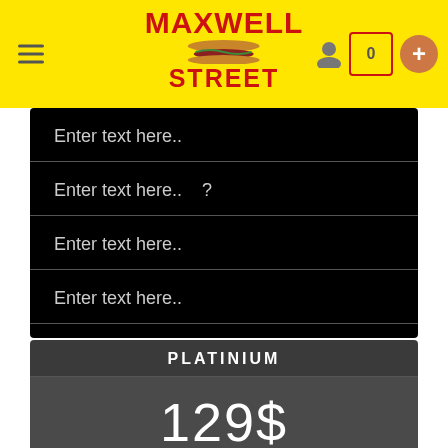[Figure (logo): Maxwell Street logo with hamburger/hotdog graphic in yellow header bar with hamburger menu icon, user icon, cart icon showing 0, and orange plus button]
Enter text here..
Enter text here..  ?
Enter text here..
Enter text here..
CLICK ME!
PLATINIUM
129$